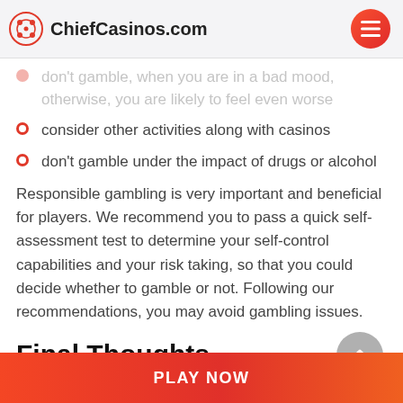ChiefCasinos.com
don't gamble, when you are in a bad mood, otherwise, you are likely to feel even worse
consider other activities along with casinos
don't gamble under the impact of drugs or alcohol
Responsible gambling is very important and beneficial for players. We recommend you to pass a quick self-assessment test to determine your self-control capabilities and your risk taking, so that you could decide whether to gamble or not. Following our recommendations, you may avoid gambling issues.
Final Thoughts
PLAY NOW